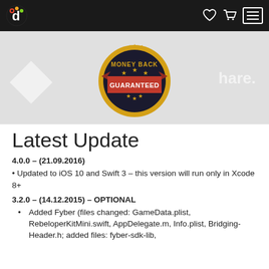Navigation bar with logo, heart icon, cart icon, and menu button
[Figure (illustration): Money Back Guaranteed badge/seal in gold, red and black, centered over a light gray banner background with faint white text]
Latest Update
4.0.0 – (21.09.2016)
• Updated to iOS 10 and Swift 3 – this version will run only in Xcode 8+
3.2.0 – (14.12.2015) – OPTIONAL
Added Fyber (files changed: GameData.plist, RebeloperKitMini.swift, AppDelegate.m, Info.plist, Bridging-Header.h; added files: fyber-sdk-lib,